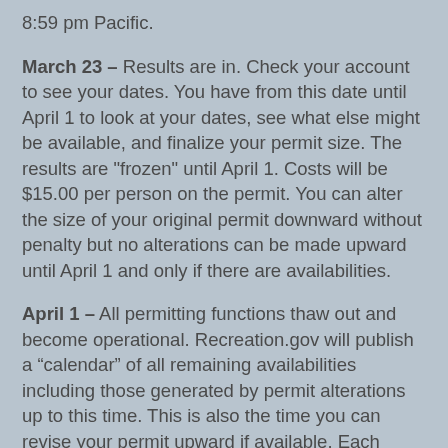8:59 pm Pacific.
March 23 – Results are in.  Check your account to see your dates.  You have from this date until April 1 to look at your dates, see what else might be available, and finalize your permit size. The results are "frozen" until April 1. Costs will be $15.00 per person on the permit. You can alter the size of your original permit downward without penalty but no alterations can be made upward until April 1 and only if there are availabilities.
April 1 – All permitting functions thaw out and become operational.  Recreation.gov will publish a “calendar” of all remaining availabilities including those generated by permit alterations up to this time.  This is also the time you can revise your permit upward if available.  Each addition person costs $15.00.  Do not accept your date until you know your permit size. Once accepted, any up or down movement in permit size will cost you.
April 30 – Last day to accept or decline.  You have until 9:00 pm Pacific to hit the “ACCEPT” button.  Don't white-knuckle